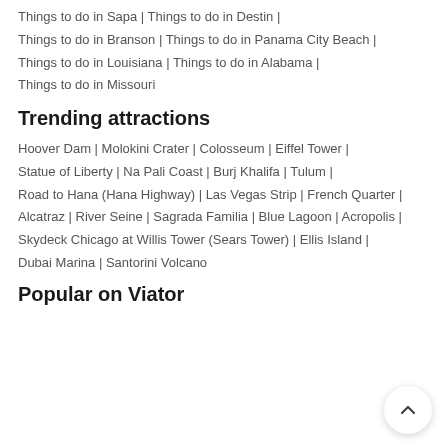Things to do in Sapa | Things to do in Destin |
Things to do in Branson | Things to do in Panama City Beach |
Things to do in Louisiana | Things to do in Alabama |
Things to do in Missouri
Trending attractions
Hoover Dam | Molokini Crater | Colosseum | Eiffel Tower |
Statue of Liberty | Na Pali Coast | Burj Khalifa | Tulum |
Road to Hana (Hana Highway) | Las Vegas Strip | French Quarter |
Alcatraz | River Seine | Sagrada Familia | Blue Lagoon | Acropolis |
Skydeck Chicago at Willis Tower (Sears Tower) | Ellis Island |
Dubai Marina | Santorini Volcano
Popular on Viator